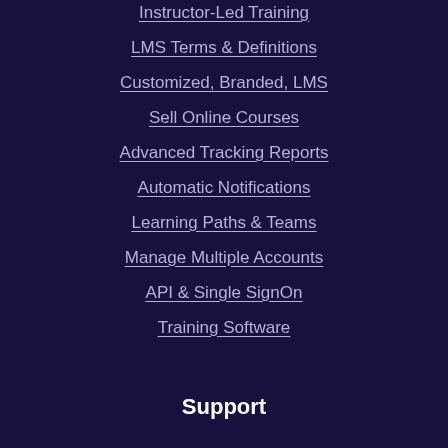Instructor-Led Training
LMS Terms & Definitions
Customized, Branded, LMS
Sell Online Courses
Advanced Tracking Reports
Automatic Notifications
Learning Paths & Teams
Manage Multiple Accounts
API & Single SignOn
Training Software
Support
FAQ's
Tutorials
LMS Support